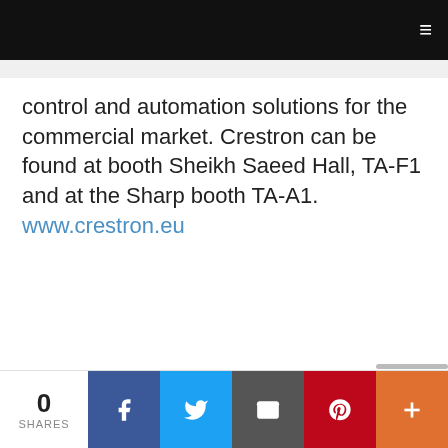≡
control and automation solutions for the commercial market. Crestron can be found at booth Sheikh Saeed Hall, TA-F1 and at the Sharp booth TA-A1. www.crestron.eu
0 SHARES | Facebook | Twitter | Email | Pinterest | More